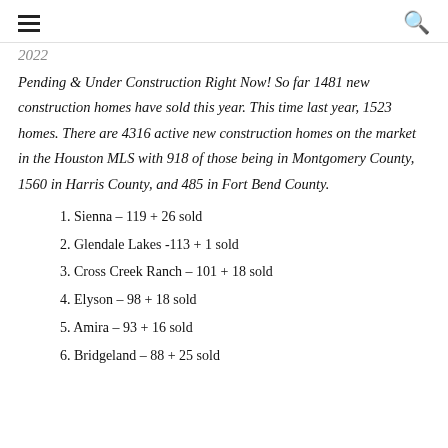☰  🔍
2022
Pending & Under Construction Right Now! So far 1481 new construction homes have sold this year. This time last year, 1523 homes. There are 4316 active new construction homes on the market in the Houston MLS with 918 of those being in Montgomery County, 1560 in Harris County, and 485 in Fort Bend County.
1. Sienna – 119 + 26 sold
2. Glendale Lakes -113 + 1 sold
3. Cross Creek Ranch – 101 + 18 sold
4. Elyson – 98 + 18 sold
5. Amira – 93 + 16 sold
6. Bridgeland – 88 + 25 sold